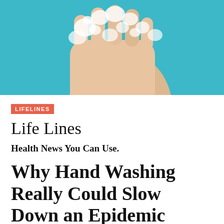[Figure (photo): Close-up photo of soapy hands being washed against a teal/turquoise background, with soap lather and bubbles visible on the fingers and palms.]
LIFELINES
Life Lines
Health News You Can Use.
Why Hand Washing Really Could Slow Down an Epidemic